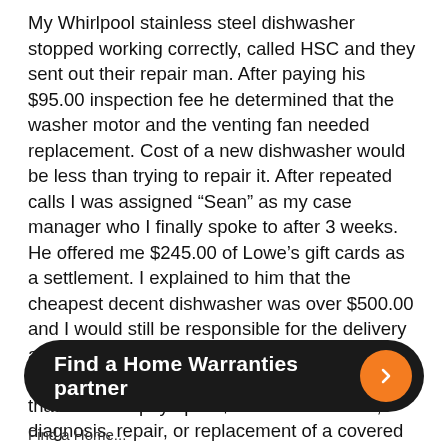My Whirlpool stainless steel dishwasher stopped working correctly, called HSC and they sent out their repair man. After paying his $95.00 inspection fee he determined that the washer motor and the venting fan needed replacement. Cost of a new dishwasher would be less than trying to repair it. After repeated calls I was assigned “Sean” as my case manager who I finally spoke to after 3 weeks. He offered me $245.00 of Lowe’s gift cards as a settlement. I explained to him that the cheapest decent dishwasher was over $500.00 and I would still be responsible for the delivery and installation to the tune of $210.00. According to the contract section E #15 it states that HSC will pay up to $600.00 for access, diagnosis, repair, or replacement of a covered dishwasher. He was adamant as to his offer
Find a Home Warranties partner
Find a Home...